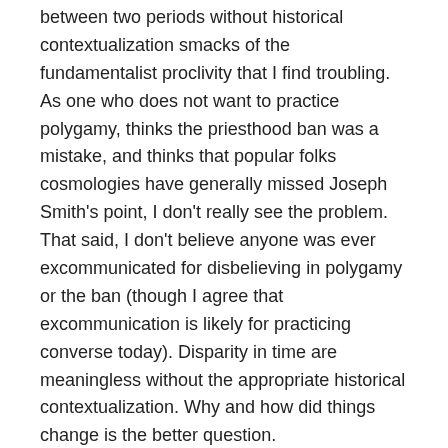between two periods without historical contextualization smacks of the fundamentalist proclivity that I find troubling. As one who does not want to practice polygamy, thinks the priesthood ban was a mistake, and thinks that popular folks cosmologies have generally missed Joseph Smith's point, I don't really see the problem. That said, I don't believe anyone was ever excommunicated for disbelieving in polygamy or the ban (though I agree that excommunication is likely for practicing converse today). Disparity in time are meaningless without the appropriate historical contextualization. Why and how did things change is the better question.
Mansfield, that is an excellent question. One